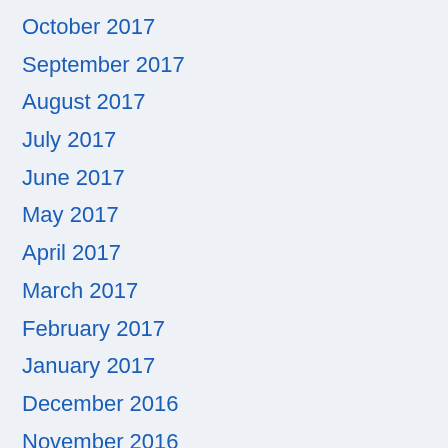October 2017
September 2017
August 2017
July 2017
June 2017
May 2017
April 2017
March 2017
February 2017
January 2017
December 2016
November 2016
October 2016
September 2016
August 2016
July 2016